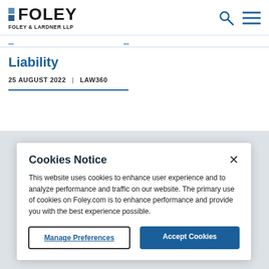FOLEY FOLEY & LARDNER LLP
Liability
25 AUGUST 2022  |  LAW360
Cookies Notice
This website uses cookies to enhance user experience and to analyze performance and traffic on our website. The primary use of cookies on Foley.com is to enhance performance and provide you with the best experience possible.
Manage Preferences  Accept Cookies